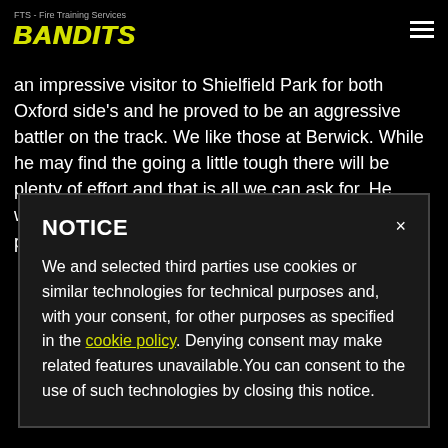FTS - Fire Training Services BANDITS
an impressive visitor to Shielfield Park for both Oxford side's and he proved to be an aggressive battler on the track. We like those at Berwick. While he may find the going a little tough there will be plenty of effort and that is all we can ask for. He won't be short of support and truth he told, he is probably the best two point rider
NOTICE
We and selected third parties use cookies or similar technologies for technical purposes and, with your consent, for other purposes as specified in the cookie policy. Denying consent may make related features unavailable.You can consent to the use of such technologies by closing this notice.